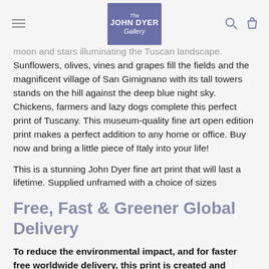The John Dyer Gallery
moon and stars illuminating the Tuscan landscape. Sunflowers, olives, vines and grapes fill the fields and the magnificent village of San Gimignano with its tall towers stands on the hill against the deep blue night sky. Chickens, farmers and lazy dogs complete this perfect print of Tuscany. This museum-quality fine art open edition print makes a perfect addition to any home or office. Buy now and bring a little piece of Italy into your life!
This is a stunning John Dyer fine art print that will last a lifetime. Supplied unframed with a choice of sizes
Free, Fast & Greener Global Delivery
To reduce the environmental impact, and for faster free worldwide delivery, this print is created and